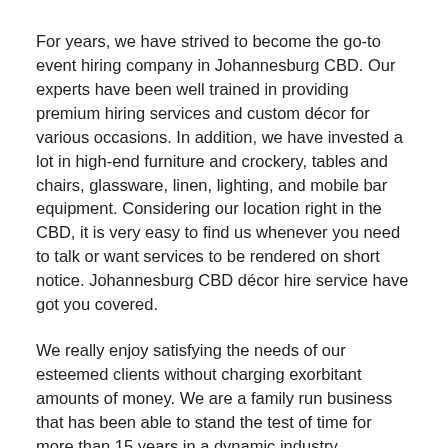For years, we have strived to become the go-to event hiring company in Johannesburg CBD. Our experts have been well trained in providing premium hiring services and custom décor for various occasions. In addition, we have invested a lot in high-end furniture and crockery, tables and chairs, glassware, linen, lighting, and mobile bar equipment. Considering our location right in the CBD, it is very easy to find us whenever you need to talk or want services to be rendered on short notice. Johannesburg CBD décor hire service have got you covered.
We really enjoy satisfying the needs of our esteemed clients without charging exorbitant amounts of money. We are a family run business that has been able to stand the test of time for more than 15 years in a dynamic industry. Therefore, believe us when we promise you a smooth and successful event. Having worked on both small and large weddings, product launches, and award ceremonies, we are now familiar with what it takes to meet the diverse needs of our clients.
Compared to other service providers, we are on a much higher pedestal when it comes to quality of service and goods. We pay attention to detail and pride ourselves in having the most outstanding record in town. With us on your team, nothing can ever